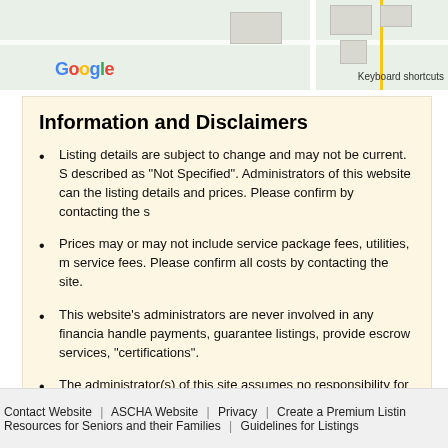[Figure (screenshot): Google Maps partial screenshot showing a map area with roads and buildings. Google logo visible at bottom left, 'Keyboard shortcuts' text at bottom right.]
Information and Disclaimers
Listing details are subject to change and may not be current. S... described as "Not Specified". Administrators of this website can... the listing details and prices. Please confirm by contacting the s...
Prices may or may not include service package fees, utilities, m... service fees. Please confirm all costs by contacting the site.
This website's administrators are never involved in any financia... handle payments, guarantee listings, provide escrow services, ... "certifications".
The administrator(s) of this site assumes no responsibility for li...
Contact Website | ASCHA Website | Privacy | Create a Premium Listin... | Resources for Seniors and their Families | Guidelines for Listings